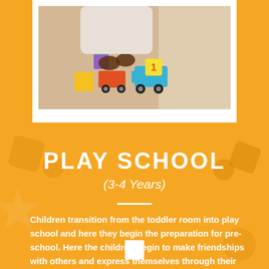[Figure (photo): Child playing with colorful building blocks and a toy train on a wooden floor]
PLAY SCHOOL
(3-4 Years)
Children transition from the toddler room into play school and here they begin the preparation for pre-school. Here the children begin to make friendships with others and express themselves through their own interests.